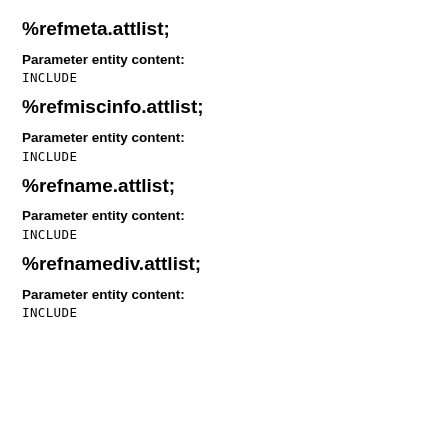%refmeta.attlist;
Parameter entity content:
INCLUDE
%refmiscinfo.attlist;
Parameter entity content:
INCLUDE
%refname.attlist;
Parameter entity content:
INCLUDE
%refnamediv.attlist;
Parameter entity content:
INCLUDE